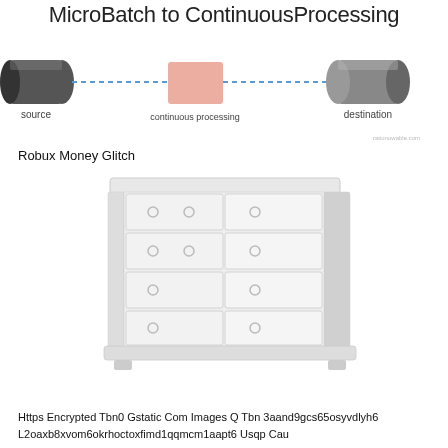MicroBatch to ContinuousProcessing
[Figure (infographic): Diagram showing a pipeline from a cylindrical 'source' on the left, through a dotted blue line, to a salmon/orange square labeled 'continuous processing' in the center, then continuing via dotted blue line to another cylinder labeled 'destination' on the right. Small watermark text 'rationowable.com' in bottom right of diagram.]
Robux Money Glitch
[Figure (illustration): Illustration of a white wooden dresser/chest of drawers with multiple drawers, each with circular ring pulls, shown at a slight angle on a white background.]
Https Encrypted Tbn0 Gstatic Com Images Q Tbn 3aand9gcs65osyvdlyh6 L2oaxb8xvom6okrhoctoxfimd1qqmcm1aapt6 Usqp Cau